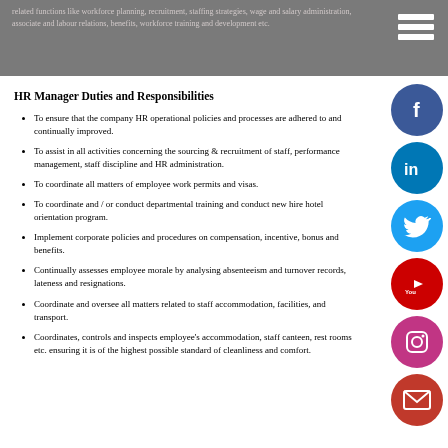related functions like workforce planning, recruitment, staffing strategies, wage and salary administration, associate and labour relations, benefits, workforce training and development etc.
HR Manager Duties and Responsibilities
To ensure that the company HR operational policies and processes are adhered to and continually improved.
To assist in all activities concerning the sourcing & recruitment of staff, performance management, staff discipline and HR administration.
To coordinate all matters of employee work permits and visas.
To coordinate and / or conduct departmental training and conduct new hire hotel orientation program.
Implement corporate policies and procedures on compensation, incentive, bonus and benefits.
Continually assesses employee morale by analysing absenteeism and turnover records, lateness and resignations.
Coordinate and oversee all matters related to staff accommodation, facilities, and transport.
Coordinates, controls and inspects employee's accommodation, staff canteen, rest rooms etc. ensuring it is of the highest possible standard of cleanliness and comfort.